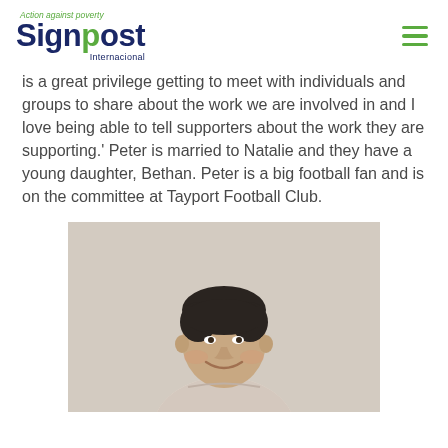Action against poverty Signpost International
is a great privilege getting to meet with individuals and groups to share about the work we are involved in and I love being able to tell supporters about the work they are supporting.' Peter is married to Natalie and they have a young daughter, Bethan. Peter is a big football fan and is on the committee at Tayport Football Club.
[Figure (photo): A smiling woman with short dark hair wearing a light-coloured top, standing against a textured white/grey wall.]